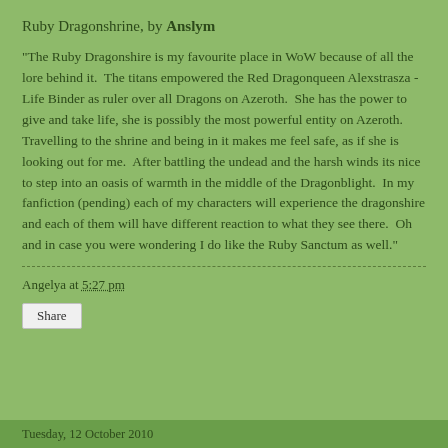Ruby Dragonshrine, by Anslym
"The Ruby Dragonshire is my favourite place in WoW because of all the lore behind it.  The titans empowered the Red Dragonqueen Alexstrasza - Life Binder as ruler over all Dragons on Azeroth.  She has the power to give and take life, she is possibly the most powerful entity on Azeroth.  Travelling to the shrine and being in it makes me feel safe, as if she is looking out for me.  After battling the undead and the harsh winds its nice to step into an oasis of warmth in the middle of the Dragonblight.  In my fanfiction (pending) each of my characters will experience the dragonshire and each of them will have different reaction to what they see there.  Oh and in case you were wondering I do like the Ruby Sanctum as well."
Angelya at 5:27 pm
Share
Tuesday, 12 October 2010